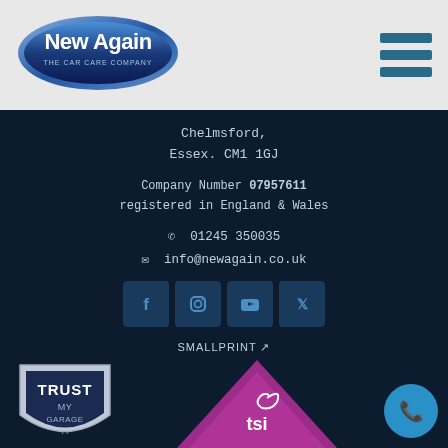[Figure (logo): New Again - The Car Care Company logo, oval shape with blue gradient and white text]
[Figure (other): Hamburger menu icon with three teal horizontal bars]
Chelmsford,
Essex. CM1 1GJ
Company Number 07957611
registered in England & Wales
📞 01245 350035
✉ info@newagain.co.uk
[Figure (other): Social media icons: Facebook, Instagram, YouTube, Twitter on dark blue square buttons]
SMALLPRINT
Privacy Policy | Website Usage | Terms of Service
CREDITS
Icons made by Freepik from www.flaticon.com
[Figure (logo): Trust My Garage shield badge logo]
[Figure (logo): TSI (Trading Standards Institute) logo on pink/purple triangle shape]
[Figure (other): Blue circular phone call button (FAB)]